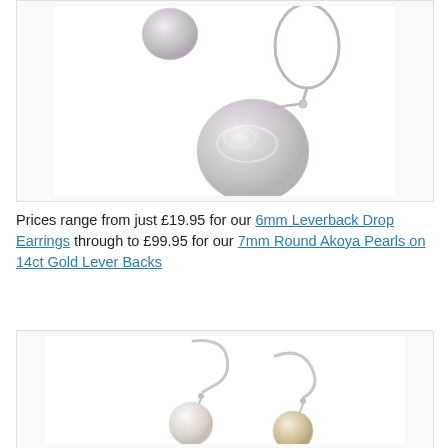[Figure (photo): Photo of flat/coin pearl leverback drop earrings on white background — two flat pearlescent disc pearls with silver leverback findings]
Prices range from just £19.95 for our 6mm Leverback Drop Earrings through to £99.95 for our 7mm Round Akoya Pearls on 14ct Gold Lever Backs
[Figure (photo): Photo of round pearl leverback drop earrings on white background — two round pearls (one white, one champagne/pink) with silver leverback findings]